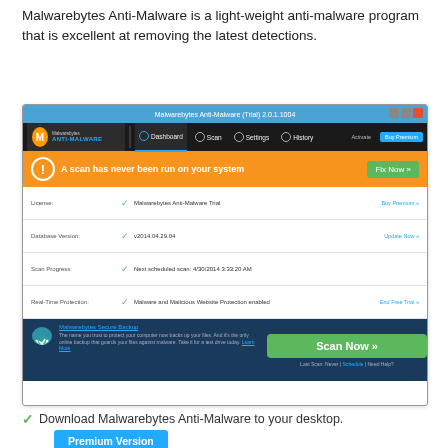Malwarebytes Anti-Malware is a light-weight anti-malware program that is excellent at removing the latest detections.
[Figure (screenshot): Screenshot of Malwarebytes Anti-Malware (Trial) 2.0.1.1004 application window showing the Dashboard with an orange alert banner saying 'A scan has never been run on your system' with a 'Fix Now' button, license info showing Malwarebytes Anti-Malware Trial, Database Version v2014.04.29.04, Scan Progress with next scheduled scan 4/30/2014 3:33:20 AM, Real-Time Protection showing Malware and Malicious Website Protection enabled, a Scan Now button, and Malwarebytes Secure Backup promotion.]
Download Malwarebytes Anti-Malware to your desktop.
Premium Version
Free Version (without Real-time protection)